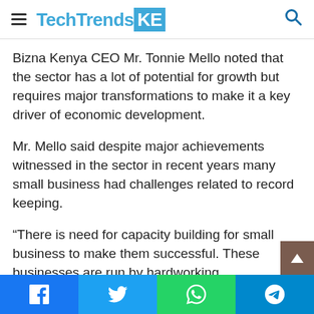TechTrendsKE
Bizna Kenya CEO Mr. Tonnie Mello noted that the sector has a lot of potential for growth but requires major transformations to make it a key driver of economic development.
Mr. Mello said despite major achievements witnessed in the sector in recent years many small business had challenges related to record keeping.
“There is need for capacity building for small business to make them successful. These businesses are run by hardworking entrepreneurs but they